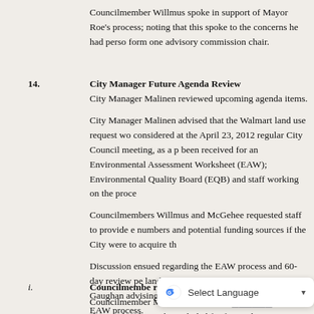Councilmember Willmus spoke in support of Mayor Roe's process; noting that this spoke to the concerns he had personally form one advisory commission chair.
14.  City Manager Future Agenda Review
City Manager Malinen reviewed upcoming agenda items.
City Manager Malinen advised that the Walmart land use request would be considered at the April 23, 2012 regular City Council meeting, as a petition had been received for an Environmental Assessment Worksheet (EAW); with the Environmental Quality Board (EQB) and staff working on the process.
Councilmembers Willmus and McGehee requested staff to provide estimated numbers and potential funding sources if the City were to acquire the property.
Discussion ensued regarding the EAW process and 60-day review period for land use cases; with City Attorney Gaughan advising that the 60-day period was "tolled" pending the EAW process.
i.  Councilmember McGehee Motion/Future M...
Councilmember McGehee expressed interest in sharing that the Ne... be included for future discussions, receiving assurances from Mayo...